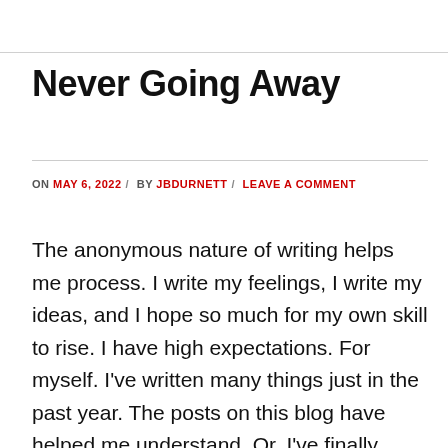Never Going Away
ON MAY 6, 2022 / BY JBDURNETT / LEAVE A COMMENT
The anonymous nature of writing helps me process. I write my feelings, I write my ideas, and I hope so much for my own skill to rise. I have high expectations. For myself. I've written many things just in the past year. The posts on this blog have helped me understand. Or, I've finally gotten ...